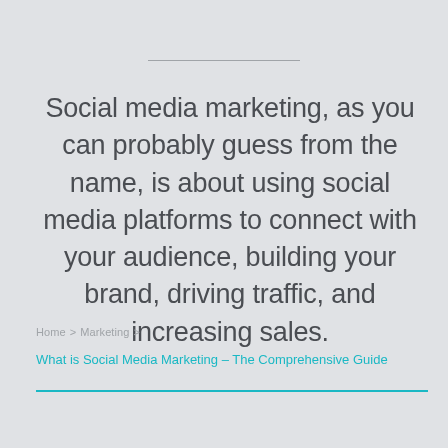Social media marketing, as you can probably guess from the name, is about using social media platforms to connect with your audience, building your brand, driving traffic, and increasing sales.
Home > Marketing > What is Social Media Marketing – The Comprehensive Guide